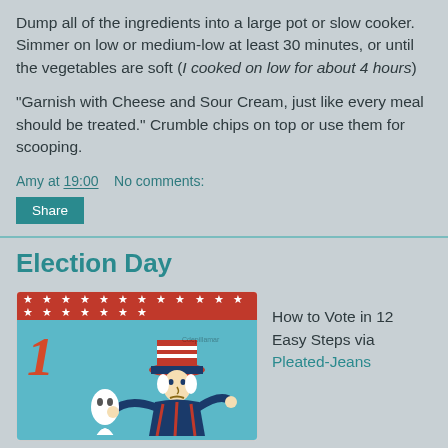Dump all of the ingredients into a large pot or slow cooker. Simmer on low or medium-low at least 30 minutes, or until the vegetables are soft (I cooked on low for about 4 hours)
"Garnish with Cheese and Sour Cream, just like every meal should be treated." Crumble chips on top or use them for scooping.
Amy at 19:00   No comments:
Election Day
[Figure (illustration): Election Day illustration with stars banner and Uncle Sam figure with a number 1]
How to Vote in 12 Easy Steps via Pleated-Jeans